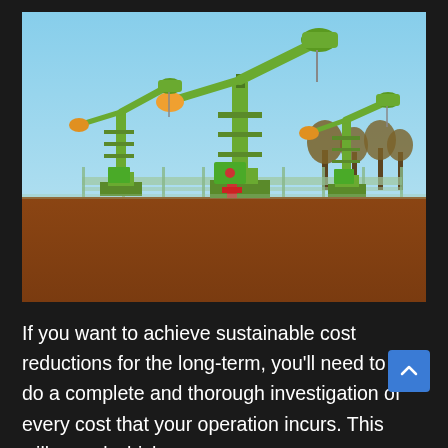[Figure (photo): Three green oil pump jacks (pumpjacks) on a dirt field under a clear blue sky, with trees and industrial fencing visible in the background.]
If you want to achieve sustainable cost reductions for the long-term, you'll need to do a complete and thorough investigation of every cost that your operation incurs. This will reveal which